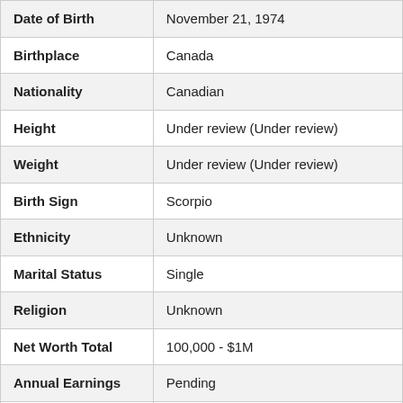| Date of Birth | November 21, 1974 |
| Birthplace | Canada |
| Nationality | Canadian |
| Height | Under review (Under review) |
| Weight | Under review (Under review) |
| Birth Sign | Scorpio |
| Ethnicity | Unknown |
| Marital Status | Single |
| Religion | Unknown |
| Net Worth Total | 100,000 - $1M |
| Annual Earnings | Pending |
| Source of Money | Drummer |
| Cars | Not available to public |
| Assets | Not Available |